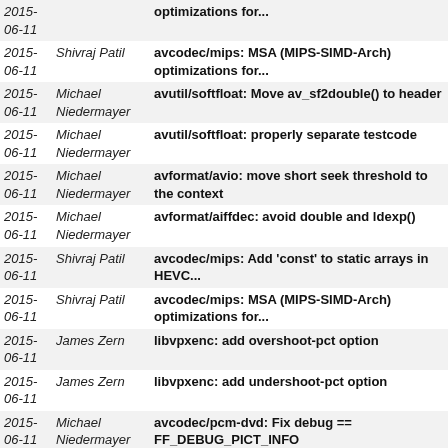| Date | Author | Message |
| --- | --- | --- |
| 2015-06-11 |  | optimizations for... |
| 2015-06-11 | Shivraj Patil | avcodec/mips: MSA (MIPS-SIMD-Arch) optimizations for... |
| 2015-06-11 | Michael Niedermayer | avutil/softfloat: Move av_sf2double() to header |
| 2015-06-11 | Michael Niedermayer | avutil/softfloat: properly separate testcode |
| 2015-06-11 | Michael Niedermayer | avformat/avio: move short seek threshold to the context |
| 2015-06-11 | Michael Niedermayer | avformat/aiffdec: avoid double and ldexp() |
| 2015-06-11 | Shivraj Patil | avcodec/mips: Add 'const' to static arrays in HEVC... |
| 2015-06-11 | Shivraj Patil | avcodec/mips: MSA (MIPS-SIMD-Arch) optimizations for... |
| 2015-06-11 | James Zern | libvpxenc: add overshoot-pct option |
| 2015-06-11 | James Zern | libvpxenc: add undershoot-pct option |
| 2015-06-11 | Michael Niedermayer | avcodec/pcm-dvd: Fix debug == FF_DEBUG_PICT_INFO |
| 2015-06-11 | Deliang Fu | avformat: Fix bug in parse_rps for HEVC. |
| 2015-06-10 | Michael Niedermayer | avdevice/openal-dec: Make al_format_info cons |
| 2015-06-10 | Michael Niedermayer | avformat/movenc: Make static packed_size, const static |